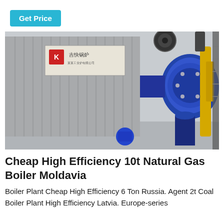Get Price
[Figure (photo): Industrial natural gas boiler unit with a large blue burner/combustion chamber attached to a corrugated metal boiler body, with yellow pipes and a metal staircase in the background. Chinese text signage visible on the boiler casing.]
Cheap High Efficiency 10t Natural Gas Boiler Moldavia
Boiler Plant Cheap High Efficiency 6 Ton Russia. Agent 2t Coal Boiler Plant High Efficiency Latvia. Europe-series